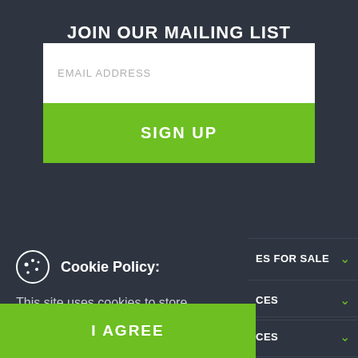JOIN OUR MAILING LIST
EMAIL ADDRESS
SIGN UP
Cookie Policy: This site uses cookies to store information on your computer. Read more
ES FOR SALE
CES
CES
I AGREE